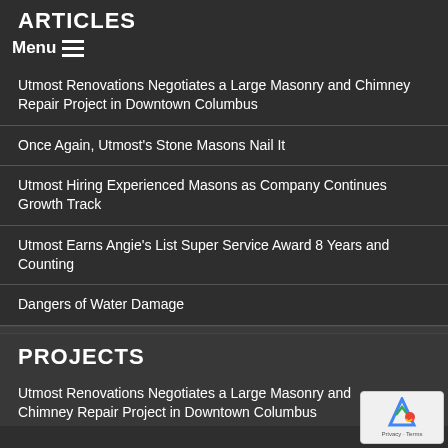ARTICLES
Utmost Renovations Negotiates a Large Masonry and Chimney Repair Project in Downtown Columbus
Once Again, Utmost's Stone Masons Nail It
Utmost Hiring Experienced Masons as Company Continues Growth Track
Utmost Earns Angie's List Super Service Award 8 Years and Counting
Dangers of Water Damage
PROJECTS
Utmost Renovations Negotiates a Large Masonry and Chimney Repair Project in Downtown Columbus